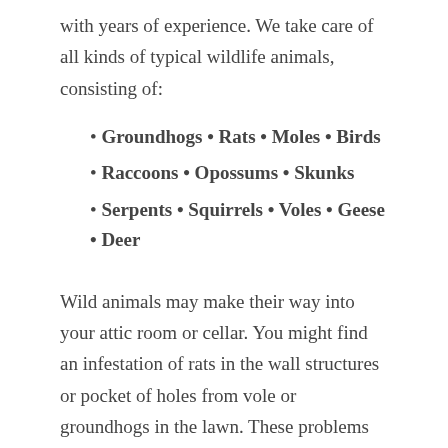with years of experience. We take care of all kinds of typical wildlife animals, consisting of:
Groundhogs • Rats • Moles • Birds
Raccoons • Opossums • Skunks
Serpents • Squirrels • Voles • Geese • Deer
Wild animals may make their way into your attic room or cellar. You might find an infestation of rats in the wall structures or pocket of holes from vole or groundhogs in the lawn. These problems need swift, professional remedies. Get in touch with us